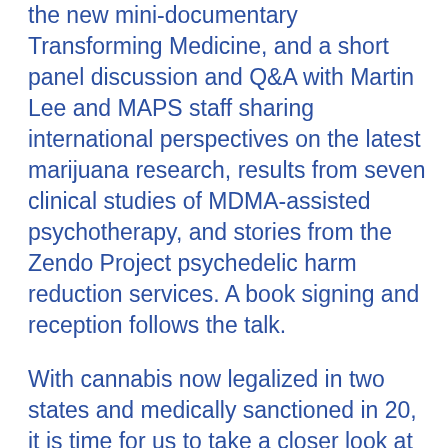the new mini-documentary Transforming Medicine, and a short panel discussion and Q&A with Martin Lee and MAPS staff sharing international perspectives on the latest marijuana research, results from seven clinical studies of MDMA-assisted psychotherapy, and stories from the Zendo Project psychedelic harm reduction services. A book signing and reception follows the talk.
With cannabis now legalized in two states and medically sanctioned in 20, it is time for us to take a closer look at the research, results, and potential therapeutic uses of marijuana and psychedelics. Over the past decade, psychedelic and medical marijuana research has been experiencing an international renaissance as the number of FDA-approved clinical trials is increasing. Substances such as LSD, MDMA,